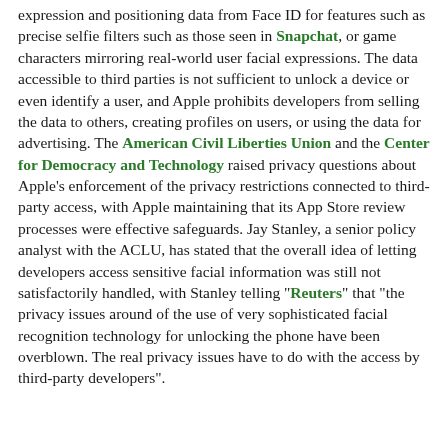expression and positioning data from Face ID for features such as precise selfie filters such as those seen in Snapchat, or game characters mirroring real-world user facial expressions. The data accessible to third parties is not sufficient to unlock a device or even identify a user, and Apple prohibits developers from selling the data to others, creating profiles on users, or using the data for advertising. The American Civil Liberties Union and the Center for Democracy and Technology raised privacy questions about Apple's enforcement of the privacy restrictions connected to third-party access, with Apple maintaining that its App Store review processes were effective safeguards. Jay Stanley, a senior policy analyst with the ACLU, has stated that the overall idea of letting developers access sensitive facial information was still not satisfactorily handled, with Stanley telling "Reuters" that "the privacy issues around of the use of very sophisticated facial recognition technology for unlocking the phone have been overblown. The real privacy issues have to do with the access by third-party developers".